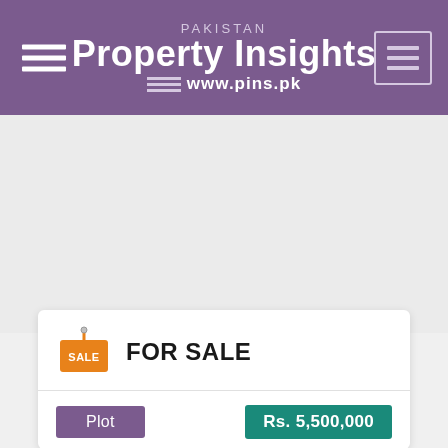PAKISTAN Property Insights www.pins.pk
[Figure (other): Gray placeholder content area below header]
FOR SALE
Plot   Rs. 5,500,000